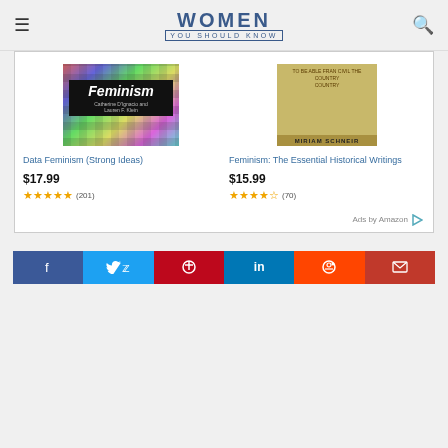WOMEN YOU SHOULD KNOW
[Figure (screenshot): Amazon ad box with two book listings: 'Data Feminism (Strong Ideas)' at $17.99 with 4.8 stars (201 reviews), and 'Feminism: The Essential Historical Writings' at $15.99 with 4.5 stars (70 reviews).]
[Figure (infographic): Social share buttons row: Facebook, Twitter, Pinterest, LinkedIn, Reddit, Email]